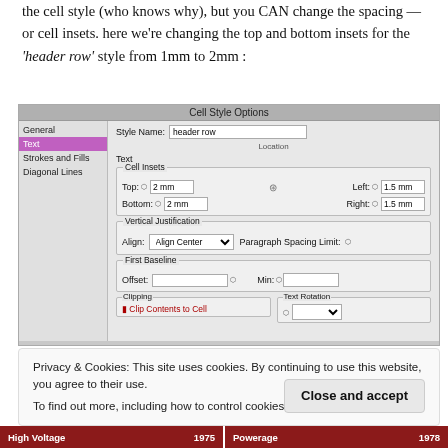the cell style (who knows why), but you CAN change the spacing — or cell insets. here we're changing the top and bottom insets for the 'header row' style from 1mm to 2mm :
[Figure (screenshot): Cell Style Options dialog showing Style Name: header row, Text tab selected in sidebar, Cell Insets section with Top: 2mm, Bottom: 2mm, Left: 1.5mm, Right: 1.5mm, Vertical Justification section with Align Center, First Baseline section, and partial Clipping / Text Rotation sections at the bottom.]
Privacy & Cookies: This site uses cookies. By continuing to use this website, you agree to their use.
To find out more, including how to control cookies, see here: Cookie Policy
High Voltage 1975 | Powerage 1978